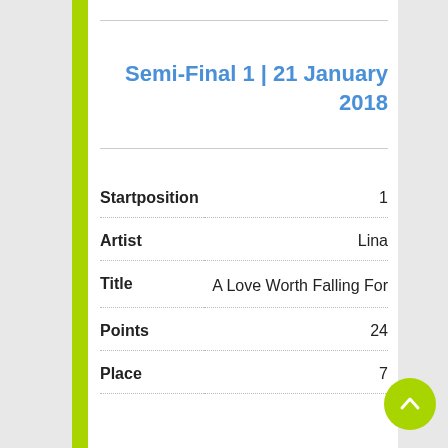Semi-Final 1 | 21 January 2018
| Field | Value |
| --- | --- |
| Startposition | 1 |
| Artist | Lina |
| Title | A Love Worth Falling For |
| Points | 24 |
| Place | 7 |